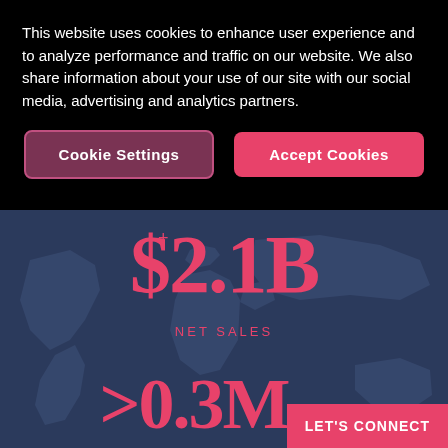This website uses cookies to enhance user experience and to analyze performance and traffic on our website. We also share information about your use of our site with our social media, advertising and analytics partners.
Cookie Settings
Accept Cookies
$2.1B
NET SALES
>0.3M
LET'S CONNECT